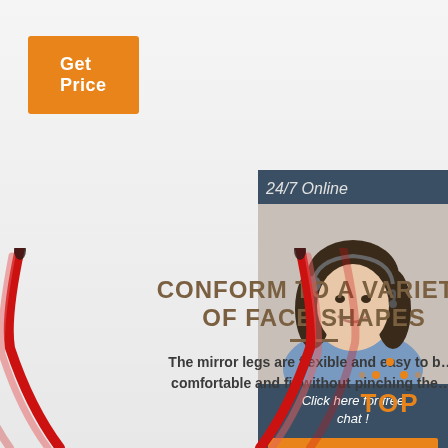[Figure (infographic): Orange 'Get Price' button in top left corner]
[Figure (photo): Customer service agent widget with '24/7 Online' header, photo of smiling woman with headset, 'Click here for free chat!' text, and orange QUOTATION button]
CONFORM TO A VARIETY OF FACE SHAPES
The mirror legs are flexible and easy to b... comfortable and fit without pinching the...
[Figure (photo): Red and black glasses temple/arm pieces curving upward from below]
[Figure (infographic): Orange TOP navigation button with dots above text]